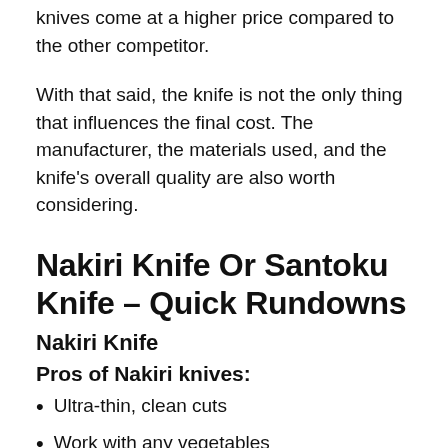knives come at a higher price compared to the other competitor.
With that said, the knife is not the only thing that influences the final cost. The manufacturer, the materials used, and the knife’s overall quality are also worth considering.
Nakiri Knife Or Santoku Knife – Quick Rundowns
Nakiri Knife
Pros of Nakiri knives:
Ultra-thin, clean cuts
Work with any vegetables